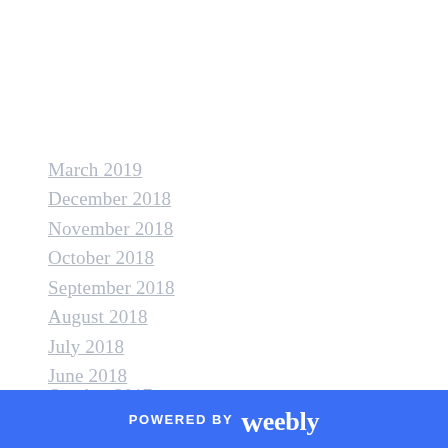March 2019
December 2018
November 2018
October 2018
September 2018
August 2018
July 2018
June 2018
May 2018
April 2018
March 2018
February 2018
January 2018
POWERED BY weebly